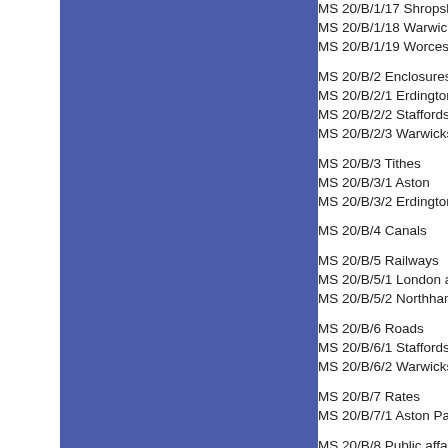MS 20/B/1/17 Shropshire
MS 20/B/1/18 Warwickshire
MS 20/B/1/19 Worcestershire
MS 20/B/2 Enclosures
MS 20/B/2/1 Erdington
MS 20/B/2/2 Staffordshire
MS 20/B/2/3 Warwickshire
MS 20/B/3 Tithes
MS 20/B/3/1 Aston
MS 20/B/3/2 Erdington
MS 20/B/4 Canals
MS 20/B/5 Railways
MS 20/B/5/1 London and
MS 20/B/5/2 Northamptonshire
MS 20/B/6 Roads
MS 20/B/6/1 Staffordshire
MS 20/B/6/2 Warwickshire
MS 20/B/7 Rates
MS 20/B/7/1 Aston Parish
MS 20/B/8 Public affairs
MS 20/B/8/1 Charities
MS 20/B/8/2 Elections
MS 20/B/8/3 Greater Birmingham
MS 20/B/8/4 East Birmingham